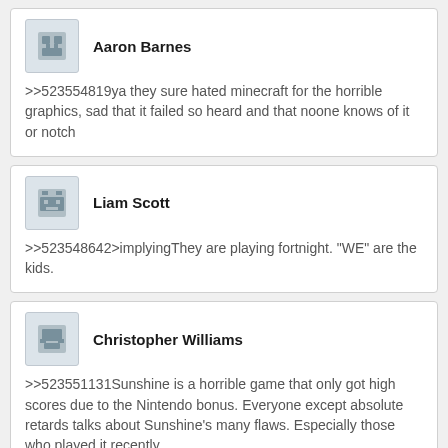Aaron Barnes
>>523554819ya they sure hated minecraft for the horrible graphics, sad that it failed so heard and that noone knows of it or notch
Liam Scott
>>523548642>implyingThey are playing fortnight. "WE" are the kids.
Christopher Williams
>>523551131Sunshine is a horrible game that only got high scores due to the Nintendo bonus. Everyone except absolute retards talks about Sunshine's many flaws. Especially those who played it recently.
David Thompson